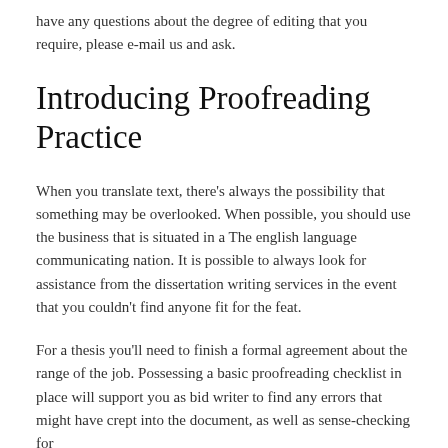have any questions about the degree of editing that you require, please e-mail us and ask.
Introducing Proofreading Practice
When you translate text, there’s always the possibility that something may be overlooked. When possible, you should use the business that is situated in a The english language communicating nation. It is possible to always look for assistance from the dissertation writing services in the event that you couldn’t find anyone fit for the feat.
For a thesis you’ll need to finish a formal agreement about the range of the job. Possessing a basic proofreading checklist in place will support you as bid writer to find any errors that might have crept into the document, as well as sense-checking for